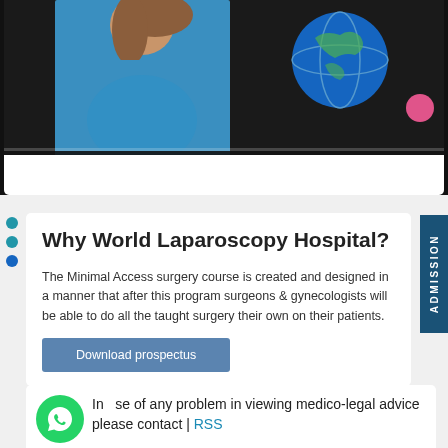[Figure (screenshot): Video player showing a woman in a blue shirt with a globe graphic, paused at 0:00, with player controls at the bottom]
Why World Laparoscopy Hospital?
The Minimal Access surgery course is created and designed in a manner that after this program surgeons & gynecologists will be able to do all the taught surgery their own on their patients.
Download prospectus
In case of any problem in viewing medico-legal advice please contact | RSS